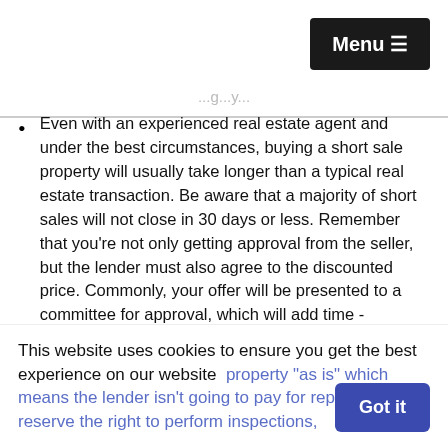Menu ☰
Even with an experienced real estate agent and under the best circumstances, buying a short sale property will usually take longer than a typical real estate transaction. Be aware that a majority of short sales will not close in 30 days or less. Remember that you're not only getting approval from the seller, but the lender must also agree to the discounted price. Commonly, your offer will be presented to a committee for approval, which will add time - sometimes even 2 to 3 months.
Home protection warranties, buyer credits and allowances, and closing cost concessions are usually...
This website uses cookies to ensure you get the best experience on our website